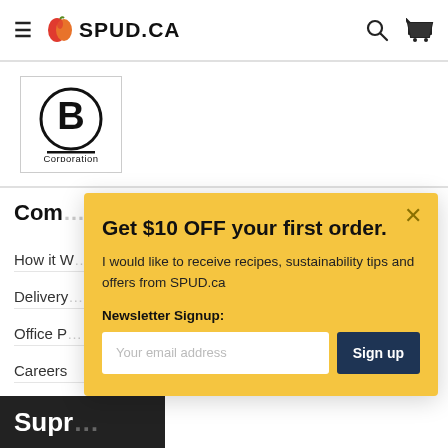SPUD.CA
[Figure (logo): B Corporation certified logo — circular B design with 'Corporation' text below]
Com...pany
How it W...orks
Delivery...
Office P...
Careers
Media
Get $10 OFF your first order. I would like to receive recipes, sustainability tips and offers from SPUD.ca Newsletter Signup: Your email address Sign up
Supr...